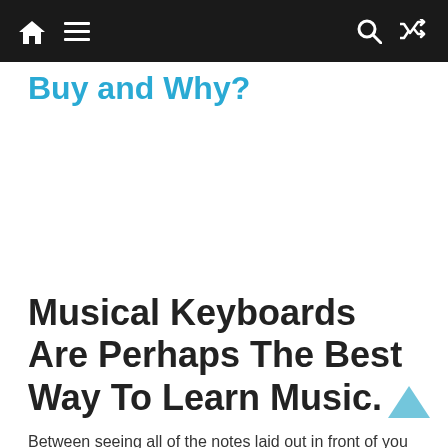Navigation bar with home, menu, search, and shuffle icons
Buy and Why?
[Figure (other): Advertisement / blank white space area]
Musical Keyboards Are Perhaps The Best Way To Learn Music.
Between seeing all of the notes laid out in front of you and